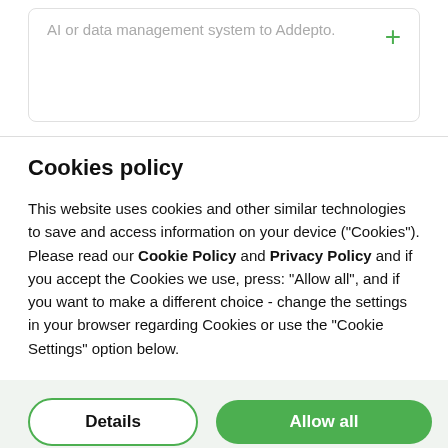AI or data management system to Addepto.
Cookies policy
This website uses cookies and other similar technologies to save and access information on your device ("Cookies"). Please read our Cookie Policy and Privacy Policy and if you accept the Cookies we use, press: "Allow all", and if you want to make a different choice - change the settings in your browser regarding Cookies or use the "Cookie Settings" option below.
Details
Allow all